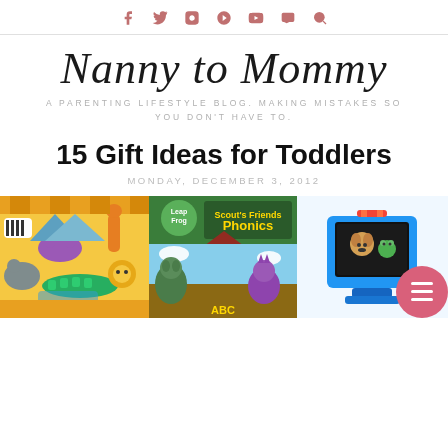f  t  instagram  pinterest  youtube  snapchat  search
Nanny to Mommy
A PARENTING LIFESTYLE BLOG. MAKING MISTAKES SO YOU DON'T HAVE TO.
15 Gift Ideas for Toddlers
MONDAY, DECEMBER 3, 2012
[Figure (photo): Three product images shown in a row: an animal puzzle board, a LeapFrog Phonics Farm game, and a Fisher-Price tablet/toy device with a pink circle menu overlay on the right.]